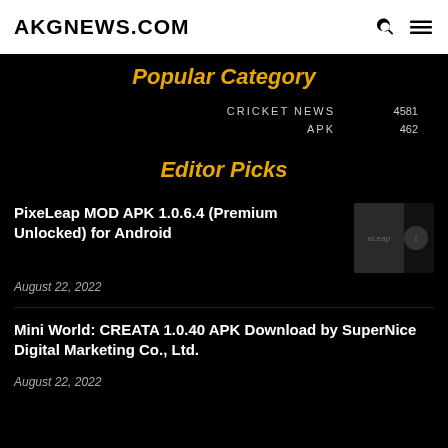AKGNEWS.COM
Popular Category
CRICKET NEWS 4581
APK 462
Editor Picks
PixeLeap MOD APK 1.0.6.4 (Premium Unlocked) for Android
August 22, 2022
Mini World: CREATA 1.0.40 APK Download by SuperNice Digital Marketing Co., Ltd.
August 22, 2022